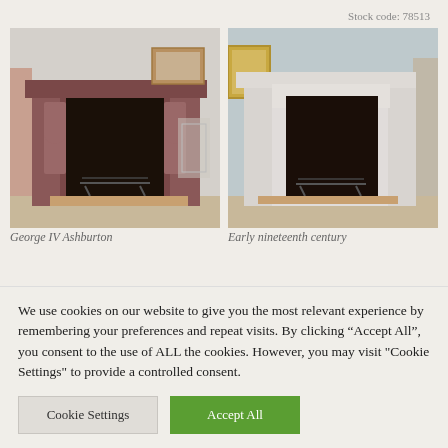Stock code: 78513
[Figure (photo): Two antique marble fireplace surrounds side by side. Left: dark reddish-brown marble fireplace with arched inner panels and black grate. Right: white/pale marble fireplace surround with black grate. Both set against light-colored walls.]
George IV Ashburton
Early nineteenth century
We use cookies on our website to give you the most relevant experience by remembering your preferences and repeat visits. By clicking “Accept All”, you consent to the use of ALL the cookies. However, you may visit "Cookie Settings" to provide a controlled consent.
Cookie Settings | Accept All